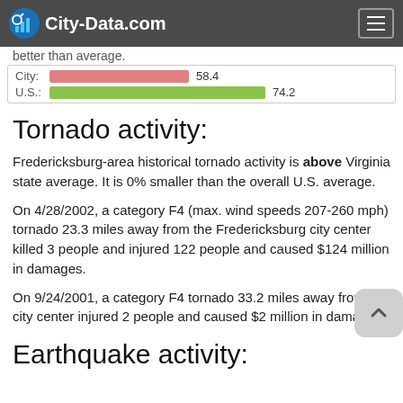City-Data.com
better than average.
City: 58.4
U.S.: 74.2
Tornado activity:
Fredericksburg-area historical tornado activity is above Virginia state average. It is 0% smaller than the overall U.S. average.
On 4/28/2002, a category F4 (max. wind speeds 207-260 mph) tornado 23.3 miles away from the Fredericksburg city center killed 3 people and injured 122 people and caused $124 million in damages.
On 9/24/2001, a category F4 tornado 33.2 miles away from the city center injured 2 people and caused $2 million in damages.
Earthquake activity: